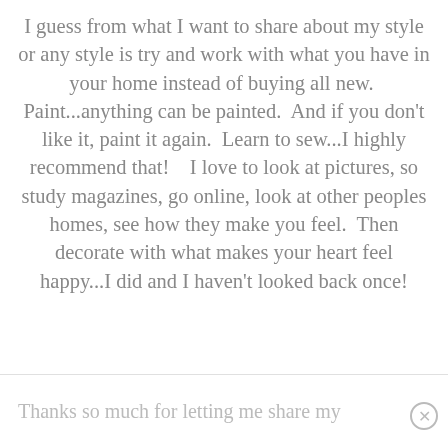I guess from what I want to share about my style or any style is try and work with what you have in your home instead of buying all new.  Paint...anything can be painted.  And if you don't like it, paint it again.  Learn to sew...I highly recommend that!   I love to look at pictures, so study magazines, go online, look at other peoples homes, see how they make you feel.  Then decorate with what makes your heart feel happy...I did and I haven't looked back once!
Thanks so much for letting me share my style.